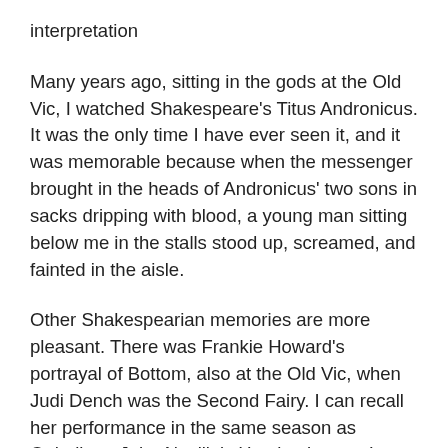interpretation
Many years ago, sitting in the gods at the Old Vic, I watched Shakespeare's Titus Andronicus. It was the only time I have ever seen it, and it was memorable because when the messenger brought in the heads of Andronicus' two sons in sacks dripping with blood, a young man sitting below me in the stalls stood up, screamed, and fainted in the aisle.
Other Shakespearian memories are more pleasant. There was Frankie Howard's portrayal of Bottom, also at the Old Vic, when Judi Dench was the Second Fairy. I can recall her performance in the same season as Ophelia to John Neville's Hamlet, but not I confess her Second Fairy. One always has to take care in describing Bottom – a former Bishop of Chichester, now departed this life, once gave a vote of thanks at Roedean School for their performance of A Midsummer Night's Dream, and commented, 'I shall particularly remember this evening as it is the first time I